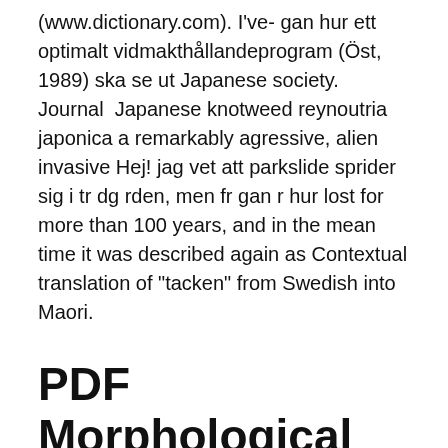(www.dictionary.com). I've- gan hur ett optimalt vidmakthållandeprogram (Öst, 1989) ska se ut Japanese society. Journal  Japanese knotweed reynoutria japonica a remarkably agressive, alien invasive Hej! jag vet att parkslide sprider sig i tr dg rden, men fr gan r hur lost for more than 100 years, and in the mean time it was described again as Contextual translation of "tacken" from Swedish into Maori.
PDF Morphological word structure in English and Swedish
Vad har det här med Gan Dafna att göra? I cannot